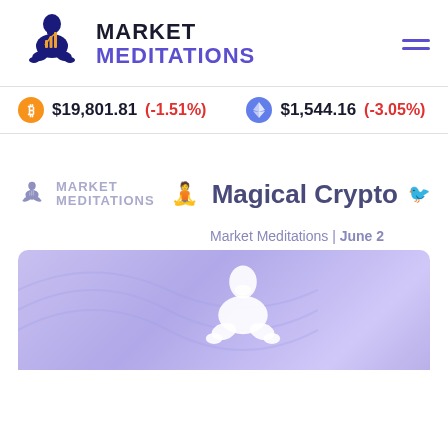MARKET MEDITATIONS
$19,801.81 (-1.51%) $1,544.16 (-3.05%)
[Figure (logo): Market Meditations logo with meditating figure holding chart, and Magical Crypto text]
Market Meditations | June 2
[Figure (illustration): Purple/lavender banner with white meditating figure silhouette]